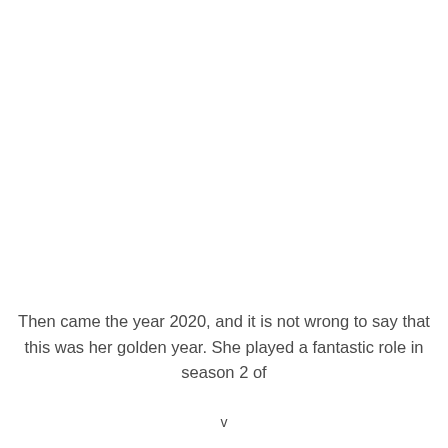Then came the year 2020, and it is not wrong to say that this was her golden year. She played a fantastic role in season 2 of
v